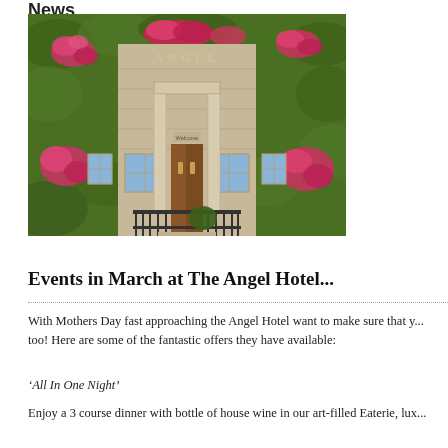News
[Figure (photo): Exterior photo of The Angel Hotel, a stone building covered in dense green ivy with pink and red flowering plants, featuring a classical columned entrance portico with a 'Welcome' sign, iron railings, and wooden front door.]
Events in March at The Angel Hotel...
With Mothers Day fast approaching the Angel Hotel want to make sure that y... too! Here are some of the fantastic offers they have available:
‘All In One Night’
Enjoy a 3 course dinner with bottle of house wine in our art-filled Eaterie, lux...